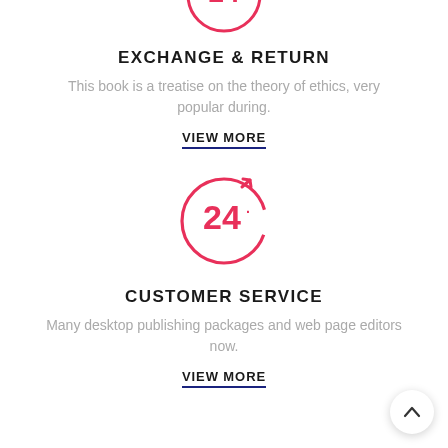[Figure (illustration): 24-hour circular icon with arrow, partially cropped at top of page, pink/red color]
EXCHANGE & RETURN
This book is a treatise on the theory of ethics, very popular during.
VIEW MORE
[Figure (illustration): 24-hour circular icon with arrow, full icon visible, pink/red color]
CUSTOMER SERVICE
Many desktop publishing packages and web page editors now.
VIEW MORE